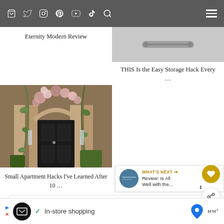Navigation bar with social icons and hamburger menu
Eternity Modern Review
THIS Is the Easy Storage Hack Every …
[Figure (photo): Stone building entrance with climbing flowers and vines over dark door]
Small Apartment Hacks I've Learned After 10 …
The Best Cheap Vacuums that C the …
WHAT'S NEXT → Review: Is All Well with the...
Subscribe to Sher She Goe…
Get updates on the latest posts and more from Sher She
In-store shopping (advertisement)